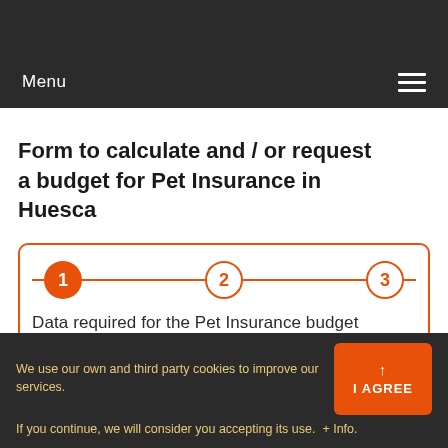Menu
Form to calculate and / or request a budget for Pet Insurance in Huesca
[Figure (infographic): Three-step wizard indicator with step 1 filled orange (active), steps 2 and 3 as orange outlined circles, connected by orange horizontal lines]
Data required for the Pet Insurance budget
We use our own and third party cookies to improve our services. If you continue, we will consider you accepting its use. + Info.